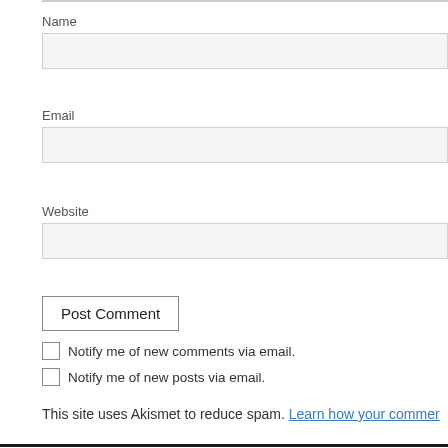Name
Email
Website
Post Comment
Notify me of new comments via email.
Notify me of new posts via email.
This site uses Akismet to reduce spam. Learn how your commer
Follow Blog via Email
Enter your email address to follow this blog
Powered by Google Translate